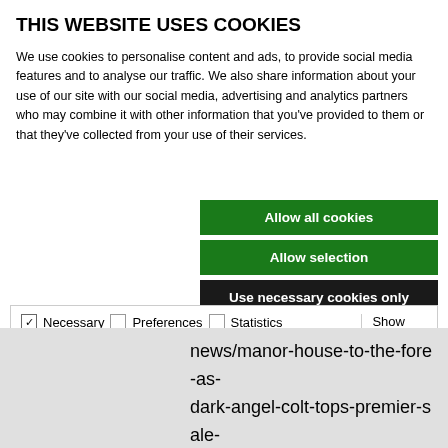THIS WEBSITE USES COOKIES
We use cookies to personalise content and ads, to provide social media features and to analyse our traffic. We also share information about your use of our site with our social media, advertising and analytics partners who may combine it with other information that you've provided to them or that they've collected from your use of their services.
Allow all cookies
Allow selection
Use necessary cookies only
Necessary  Preferences  Statistics  Marketing  Show details
news/manor-house-to-the-fore-as-dark-angel-colt-tops-premier-sale-day-one-at-120000/507371 PDF of the article here: https://www.bloodstocknews.eu/pdf/2021/EBN2021-08-25.pdf...